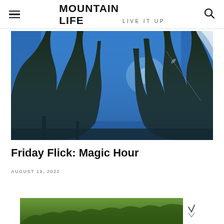MOUNTAIN LIFE LIVE IT UP
[Figure (photo): Upward-looking photo through tall pine trees against a bright blue sky with snow on branches, mountain scenery]
Friday Flick: Magic Hour
AUGUST 19, 2022
[Figure (photo): Partial view of another photo at the bottom of the page showing green forest/mountain scenery]